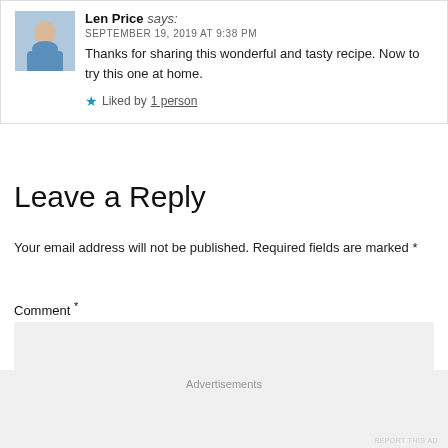Len Price says:
SEPTEMBER 19, 2019 AT 9:38 PM
Thanks for sharing this wonderful and tasty recipe. Now to try this one at home.
Liked by 1 person
Leave a Reply
Your email address will not be published. Required fields are marked *
Comment *
Advertisements